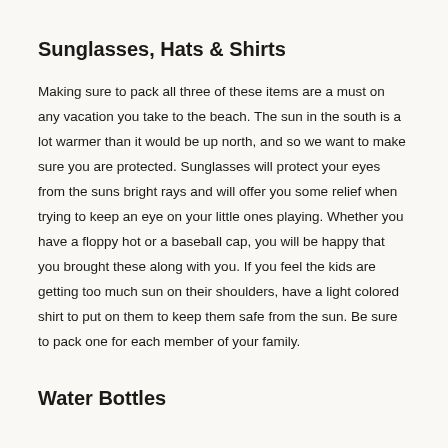Sunglasses, Hats & Shirts
Making sure to pack all three of these items are a must on any vacation you take to the beach. The sun in the south is a lot warmer than it would be up north, and so we want to make sure you are protected. Sunglasses will protect your eyes from the suns bright rays and will offer you some relief when trying to keep an eye on your little ones playing. Whether you have a floppy hot or a baseball cap, you will be happy that you brought these along with you. If you feel the kids are getting too much sun on their shoulders, have a light colored shirt to put on them to keep them safe from the sun. Be sure to pack one for each member of your family.
Water Bottles